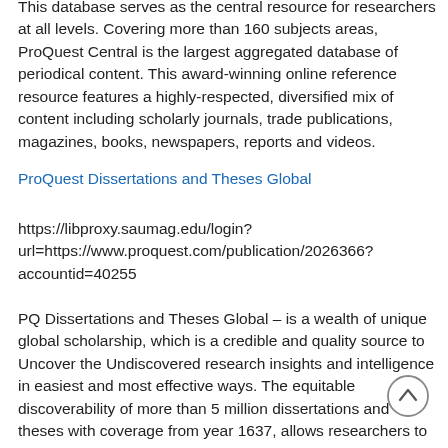This database serves as the central resource for researchers at all levels. Covering more than 160 subjects areas, ProQuest Central is the largest aggregated database of periodical content. This award-winning online reference resource features a highly-respected, diversified mix of content including scholarly journals, trade publications, magazines, books, newspapers, reports and videos.
ProQuest Dissertations and Theses Global
https://libproxy.saumag.edu/login?url=https://www.proquest.com/publication/2026366?accountid=40255
PQ Dissertations and Theses Global – is a wealth of unique global scholarship, which is a credible and quality source to Uncover the Undiscovered research insights and intelligence in easiest and most effective ways. The equitable discoverability of more than 5 million dissertations and theses with coverage from year 1637, allows researchers to amplify diverse voices and place their research in a global